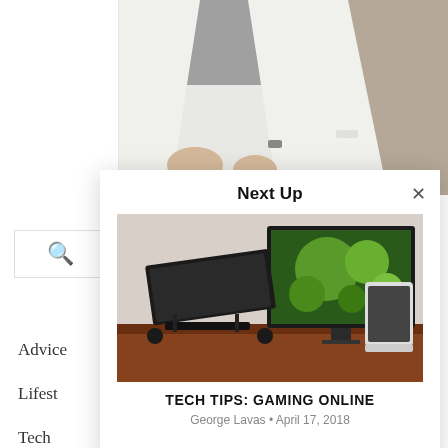[Figure (photo): Person in white suit/jacket seated, hands folded in lap, photographed from torso down]
[Figure (screenshot): Website sidebar with search icon and navigation links: Advice, Lifestyle, Tech]
Next Up
[Figure (photo): Photo of a laptop on a stand next to a large monitor displaying green bubbles wallpaper, with a tablet/phone on a wooden desk]
TECH TIPS: GAMING ONLINE
George Lavas • April 17, 2018